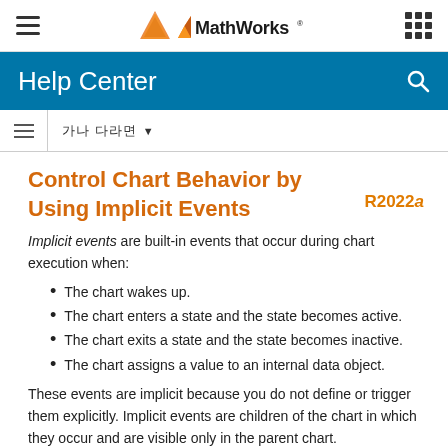MathWorks Help Center
Control Chart Behavior by Using Implicit Events
Implicit events are built-in events that occur during chart execution when:
The chart wakes up.
The chart enters a state and the state becomes active.
The chart exits a state and the state becomes inactive.
The chart assigns a value to an internal data object.
These events are implicit because you do not define or trigger them explicitly. Implicit events are children of the chart in which they occur and are visible only in the parent chart.